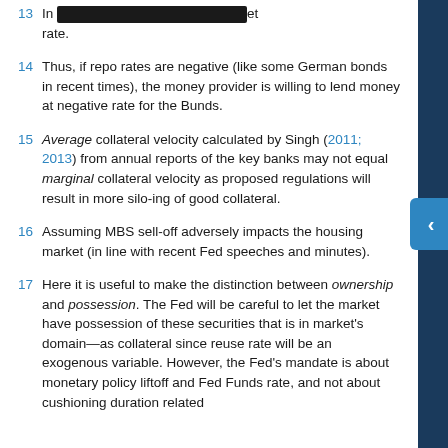13 In [redacted] experience. [redacted] et rate.
14 Thus, if repo rates are negative (like some German bonds in recent times), the money provider is willing to lend money at negative rate for the Bunds.
15 Average collateral velocity calculated by Singh (2011; 2013) from annual reports of the key banks may not equal marginal collateral velocity as proposed regulations will result in more silo-ing of good collateral.
16 Assuming MBS sell-off adversely impacts the housing market (in line with recent Fed speeches and minutes).
17 Here it is useful to make the distinction between ownership and possession. The Fed will be careful to let the market have possession of these securities that is in market's domain—as collateral since reuse rate will be an exogenous variable. However, the Fed's mandate is about monetary policy liftoff and Fed Funds rate, and not about cushioning duration related